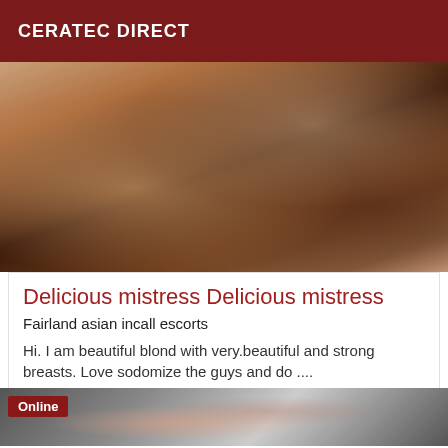CERATEC DIRECT
[Figure (photo): Photo of a person in a dimly lit setting, warm tones]
Delicious mistress Delicious mistress
Fairland asian incall escorts
Hi. I am beautiful blond with very.beautiful and strong breasts. Love sodomize the guys and do ....
[Figure (photo): Close-up photo of a person's face and neck in dark setting with Online badge]